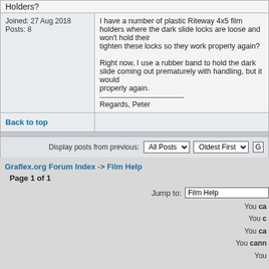Holders?
Joined: 27 Aug 2018
Posts: 8
I have a number of plastic Riteway 4x5 film holders where the dark slide locks are loose and won't hold their position. Can I tighten these locks so they work properly again?

Right now, I use a rubber band to hold the dark slides from coming out prematurely with handling, but it would be nice if they worked properly again.

Regards, Peter
Back to top
Display posts from previous: All Posts Oldest First Go
Graflex.org Forum Index -> Film Help
Page 1 of 1
Jump to: Film Help
You cannot post new topics in this forum
You cannot reply to topics in this forum
You cannot edit your posts in this forum
You cannot delete your posts in this forum
You cannot vote in polls in this forum
Powered by phpBB © 2001, 2005 phpBB Group